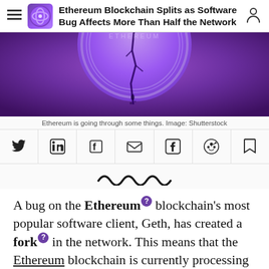Ethereum Blockchain Splits as Software Bug Affects More Than Half the Network
[Figure (photo): A cracked purple/violet Ethereum coin against a purple background with liquid dripping from the crack]
Ethereum is going through some things. Image: Shutterstock
[Figure (infographic): Social share icons row: Twitter, LinkedIn, Flipboard, Email, Facebook, Reddit, Bookmark]
[Figure (other): Decorative squiggle/wave divider graphic in dark color]
A bug on the Ethereum blockchain's most popular software client, Geth, has created a fork in the network. This means that the Ethereum blockchain is currently processing two chains